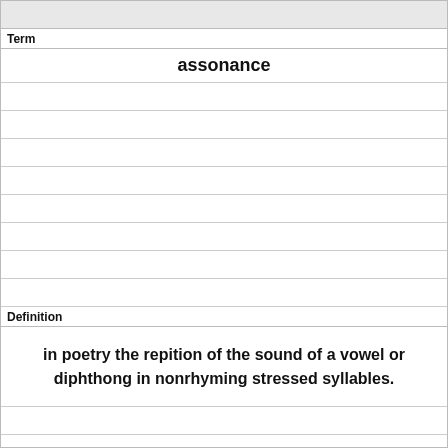Term
assonance
Definition
in poetry the repition of the sound of a vowel or diphthong in nonrhyming stressed syllables.